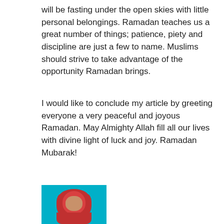will be fasting under the open skies with little personal belongings. Ramadan teaches us a great number of things; patience, piety and discipline are just a few to name. Muslims should strive to take advantage of the opportunity Ramadan brings.
I would like to conclude my article by greeting everyone a very peaceful and joyous Ramadan. May Almighty Allah fill all our lives with divine light of luck and joy. Ramadan Mubarak!
[Figure (photo): Portrait photo of a woman wearing a red hijab, shown from shoulders up, against a light blue background]